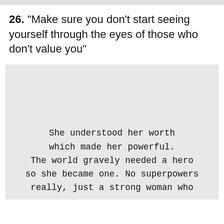26. "Make sure you don't start seeing yourself through the eyes of those who don't value you"
[Figure (illustration): Light grey textured background box containing typewriter-font text: 'She understood her worth which made her powerful. The world gravely needed a hero so she became one. No superpowers really, just a strong woman who']